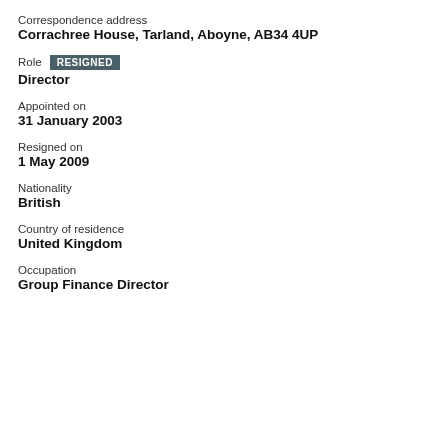Correspondence address
Corrachree House, Tarland, Aboyne, AB34 4UP
Role  RESIGNED
Director
Appointed on
31 January 2003
Resigned on
1 May 2009
Nationality
British
Country of residence
United Kingdom
Occupation
Group Finance Director